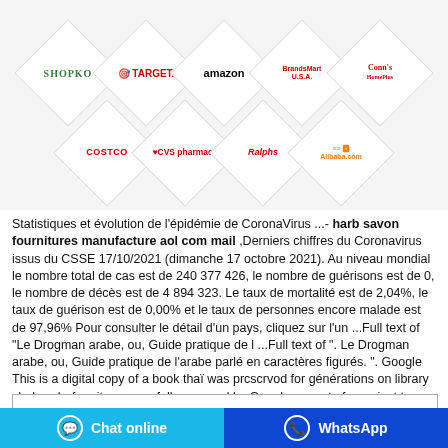[Figure (infographic): Grid of retail/brand logos arranged in diamond/rhombus shapes: Shopko, Target, Amazon, BrandsMart USA, Conn's HomePlus (top row); Costco, CVS pharmacy, Ralphs, Alibaba.com (bottom row)]
Statistiques et évolution de l'épidémie de CoronaVirus ...- harb savon fournitures manufacture aol com mail ,Derniers chiffres du Coronavirus issus du CSSE 17/10/2021 (dimanche 17 octobre 2021). Au niveau mondial le nombre total de cas est de 240 377 426, le nombre de guérisons est de 0, le nombre de décès est de 4 894 323. Le taux de mortalité est de 2,04%, le taux de guérison est de 0,00% et le taux de personnes encore malade est de 97,96% Pour consulter le détail d'un pays, cliquez sur l'un ...Full text of "Le Drogman arabe, ou, Guide pratique de l ...Full text of ". Le Drogman arabe, ou, Guide pratique de l'arabe parlé en caractères figurés. ". Google This is a digital copy of a book thaï was prcscrvod for générations on library shelves before it was carefully scanned by Google as part of a project to make the world's bocks discoverablc online. It has survived long enough for the ...
[Figure (screenshot): Partial view of a web form or content box at the bottom]
Chat online   WhatsApp